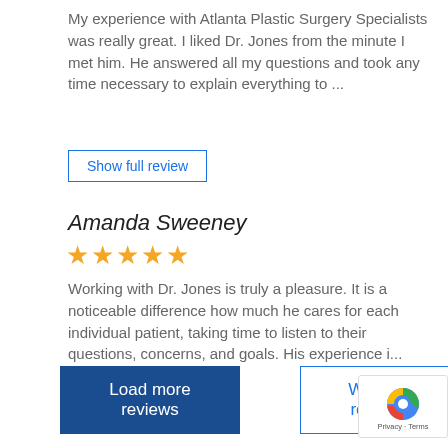My experience with Atlanta Plastic Surgery Specialists was really great. I liked Dr. Jones from the minute I met him. He answered all my questions and took any time necessary to explain everything to ...
Show full review
Amanda Sweeney
★★★★★
Working with Dr. Jones is truly a pleasure. It is a noticeable difference how much he cares for each individual patient, taking time to listen to their questions, concerns, and goals. His experience i...
Show full review
Load more reviews
Write a review